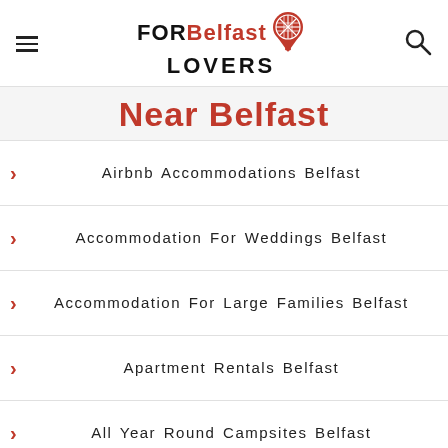FOR Belfast LOVERS
Near Belfast
Airbnb Accommodations Belfast
Accommodation For Weddings Belfast
Accommodation For Large Families Belfast
Apartment Rentals Belfast
All Year Round Campsites Belfast
Adult Hotels Belfast
Animal Hotels Belfast